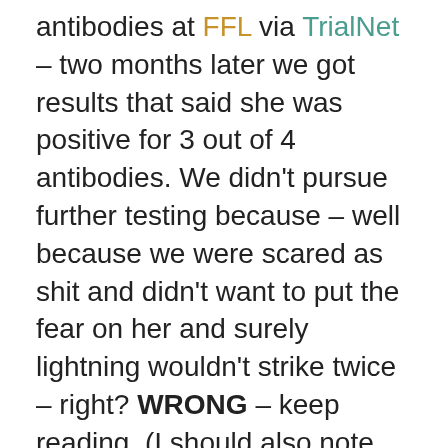antibodies at FFL via TrialNet – two months later we got results that said she was positive for 3 out of 4 antibodies. We didn't pursue further testing because – well because we were scared as shit and didn't want to put the fear on her and surely lightning wouldn't strike twice – right? WRONG – keep reading. (I should also note that my Middles was only 5 at the time and chose not to get a huge needle stuck in his arm to be tested. We respected that. Chad and I were both tested and are negative for antibodies.)
April 2009 – Sweetstuff was diagnosed with Type 1 diabetes. Screw you diabetes.